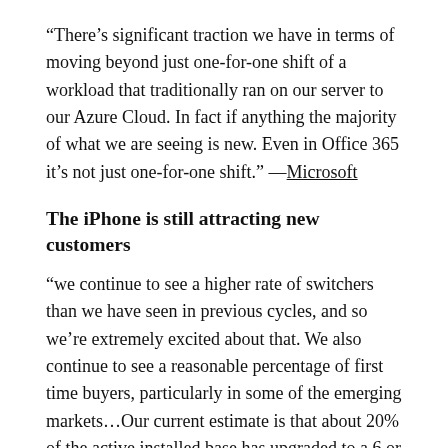“There’s significant traction we have in terms of moving beyond just one-for-one shift of a workload that traditionally ran on our server to our Azure Cloud. In fact if anything the majority of what we are seeing is new. Even in Office 365 it’s not just one-for-one shift.” —Microsoft
The iPhone is still attracting new customers
“we continue to see a higher rate of switchers than we have seen in previous cycles, and so we’re extremely excited about that. We also continue to see a reasonable percentage of first time buyers, particularly in some of the emerging markets…Our current estimate is that about 20% of the active installed base has upgraded to a 6 or 6 plus.” —Apple (Consumer Electronics)
The iPad is being cannibalized by iPhones and M...